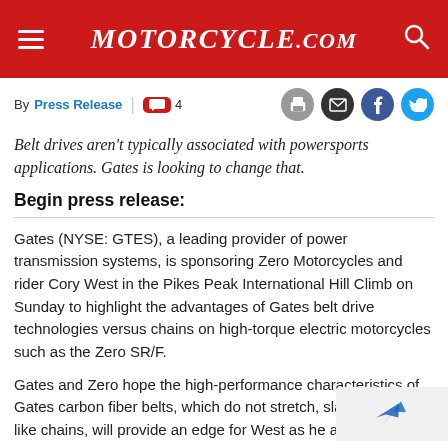Motorcycle.com
By Press Release | 4
Belt drives aren't typically associated with powersports applications. Gates is looking to change that.
Begin press release:
Gates (NYSE: GTES), a leading provider of power transmission systems, is sponsoring Zero Motorcycles and rider Cory West in the Pikes Peak International Hill Climb on Sunday to highlight the advantages of Gates belt drive technologies versus chains on high-torque electric motorcycles such as the Zero SR/F.
Gates and Zero hope the high-performance characteristics of Gates carbon fiber belts, which do not stretch, slack or corrode like chains, will provide an edge for West as he acceler…